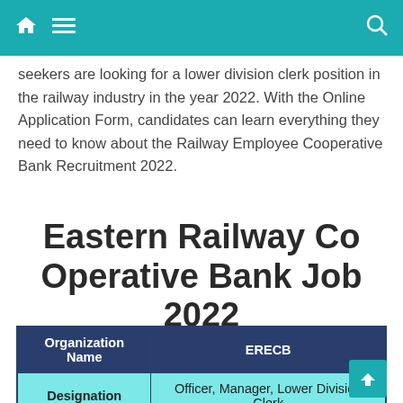Navigation bar with home, menu, and search icons
seekers are looking for a lower division clerk position in the railway industry in the year 2022. With the Online Application Form, candidates can learn everything they need to know about the Railway Employee Cooperative Bank Recruitment 2022.
Eastern Railway Co Operative Bank Job 2022
| Organization Name | ERECB |
| --- | --- |
| Designation | Officer, Manager, Lower Division Clerk |
| Total Vacancy | 21 |
| Last Date | 15.01.2022 |